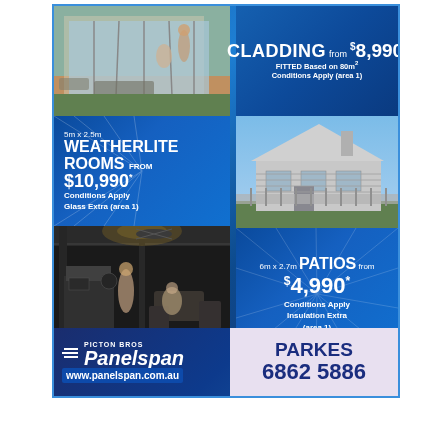[Figure (photo): Advertisement for Picton Bros Panelspan showing outdoor living areas and a house with cladding. Contains product offers for Cladding, Weatherlite Rooms, and Patios with pricing.]
CLADDING from $8,990* FITTED Based on 80m² Conditions Apply (area 1)
5m x 2.5m WEATHERLITE ROOMS from $10,990* Conditions Apply Glass Extra (area 1)
6m x 2.7m PATIOS from $4,990* Conditions Apply Insulation Extra (area 1)
Call Now • FREE On-Site DESIGN & QUOTE
PICTON BROS Panelspan www.panelspan.com.au
PARKES 6862 5886